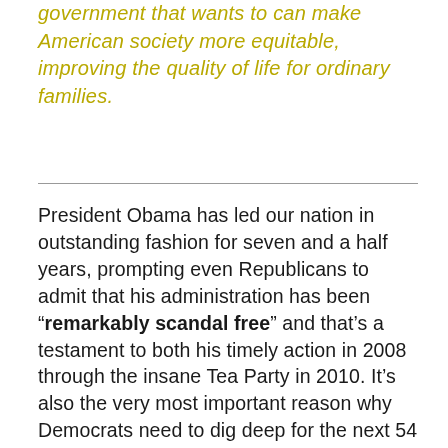government that wants to can make American society more equitable, improving the quality of life for ordinary families.
President Obama has led our nation in outstanding fashion for seven and a half years, prompting even Republicans to admit that his administration has been “remarkably scandal free” and that’s a testament to both his timely action in 2008 through the insane Tea Party in 2010. It’s also the very most important reason why Democrats need to dig deep for the next 54 days and do everything they can to elect Hillary Clinton as our first female President – because if a Clinton could make the economy party in 1999 and Obama